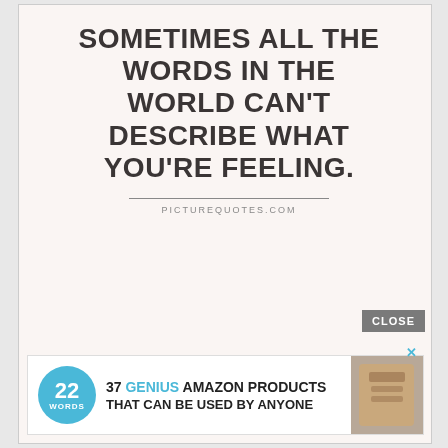[Figure (illustration): A quote image on a light pinkish-beige background. Large bold uppercase black text reads: SOMETIMES ALL THE WORDS IN THE WORLD CAN'T DESCRIBE WHAT YOU'RE FEELING. Below a horizontal divider line is the attribution: PICTUREQUOTES.com]
CLOSE
37 GENIUS AMAZON PRODUCTS THAT CAN BE USED BY ANYONE